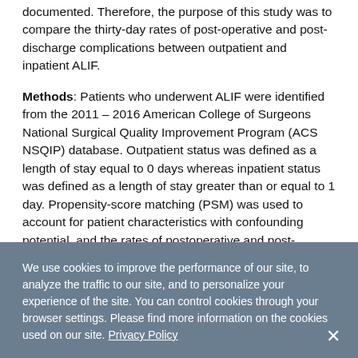documented. Therefore, the purpose of this study was to compare the thirty-day rates of post-operative and post-discharge complications between outpatient and inpatient ALIF.
Methods: Patients who underwent ALIF were identified from the 2011 – 2016 American College of Surgeons National Surgical Quality Improvement Program (ACS NSQIP) database. Outpatient status was defined as a length of stay equal to 0 days whereas inpatient status was defined as a length of stay greater than or equal to 1 day. Propensity-score matching (PSM) was used to account for patient characteristics with confounding potential, and the rates of postoperative and post-discharge complications were
We use cookies to improve the performance of our site, to analyze the traffic to our site, and to personalize your experience of the site. You can control cookies through your browser settings. Please find more information on the cookies used on our site. Privacy Policy